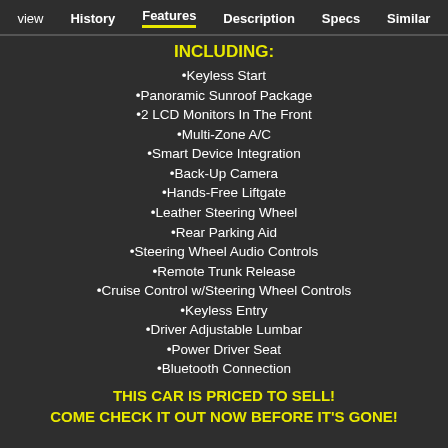view  History  Features  Description  Specs  Similar
INCLUDING:
•Keyless Start
•Panoramic Sunroof Package
•2 LCD Monitors In The Front
•Multi-Zone A/C
•Smart Device Integration
•Back-Up Camera
•Hands-Free Liftgate
•Leather Steering Wheel
•Rear Parking Aid
•Steering Wheel Audio Controls
•Remote Trunk Release
•Cruise Control w/Steering Wheel Controls
•Keyless Entry
•Driver Adjustable Lumbar
•Power Driver Seat
•Bluetooth Connection
THIS CAR IS PRICED TO SELL! COME CHECK IT OUT NOW BEFORE IT'S GONE!